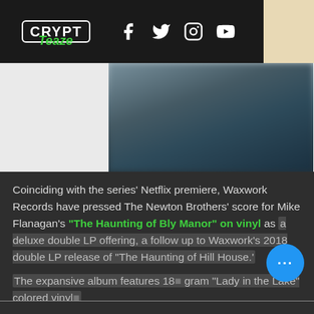CryptTeaze — social media navigation header with Facebook, Twitter, Instagram, YouTube icons
[Figure (photo): Blurred moody dark blue-grey hero image, partially visible behind left shadow]
Coinciding with the series' Netflix premiere, Waxwork Records have pressed The Newton Brothers' score for Mike Flanagan's "The Haunting of Bly Manor" on vinyl as a deluxe double LP offering, a follow up to Waxwork's 2018 double LP release of "The Haunting of Hill House.'
The expansive album features 18[...] gram "Lady in the Lake" colored vinyl[...]